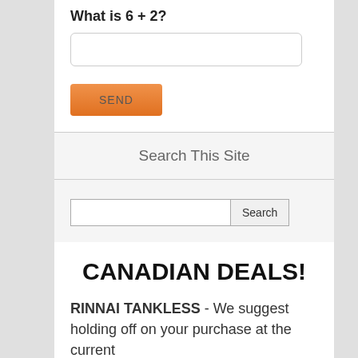What is 6 + 2?
[Figure (screenshot): Text input field for captcha answer]
[Figure (screenshot): Orange SEND button]
Search This Site
[Figure (screenshot): Search input field with Search button]
CANADIAN DEALS!
RINNAI TANKLESS - We suggest holding off on your purchase at the current